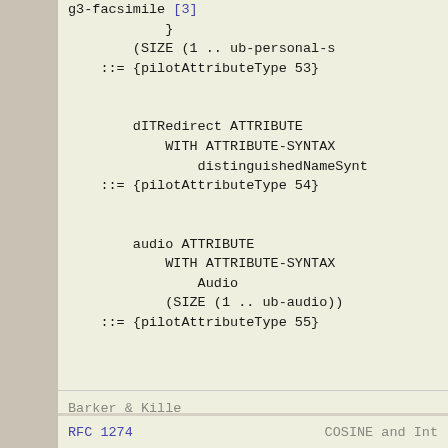g3-facsimile [3]
            }
        (SIZE (1 .. ub-personal-s
    ::= {pilotAttributeType 53}


        dITRedirect ATTRIBUTE
            WITH ATTRIBUTE-SYNTAX
                distinguishedNameSynt
    ::= {pilotAttributeType 54}


        audio ATTRIBUTE
            WITH ATTRIBUTE-SYNTAX
                Audio
            (SIZE (1 .. ub-audio))
    ::= {pilotAttributeType 55}
Barker & Kille
RFC 1274                               COSINE and Int